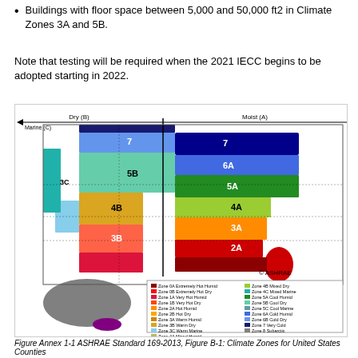Buildings with floor space between 5,000 and 50,000 ft2 in Climate Zones 3A and 5B.
Note that testing will be required when the 2021 IECC begins to be adopted starting in 2022.
[Figure (map): ASHRAE Standard 169-2013 Figure B-1: Climate Zones for United States Counties. Color-coded map of the contiguous United States, Alaska, and Hawaii showing climate zones 0-8 with subcategories A (Moist), B (Dry), and C (Marine). Includes a legend showing zone colors and labels. Copyright ASHRAE.]
Figure Annex 1-1   ASHRAE Standard 169-2013, Figure B-1: Climate Zones for United States Counties